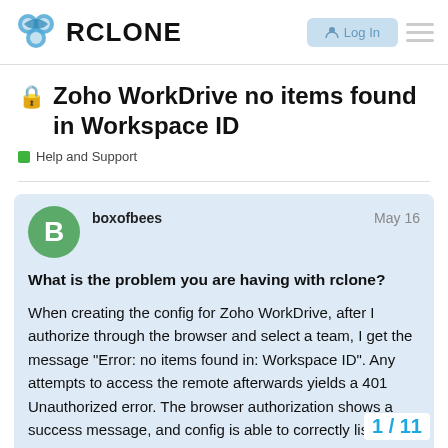RCLONE
🔒 Zoho WorkDrive no items found in Workspace ID
Help and Support
boxofbees  May 16

What is the problem you are having with rclone?

When creating the config for Zoho WorkDrive, after I authorize through the browser and select a team, I get the message "Error: no items found in: Workspace ID". Any attempts to access the remote afterwards yields a 401 Unauthorized error. The browser authorization shows a success message, and config is able to correctly list the team drives I have access to. I've tried this on both my local machine and a virtual machine with the same results. I get the same error... team drive I select. I have WorkDrive throu...
1 / 11